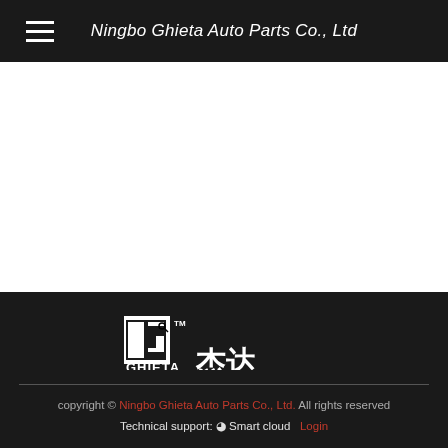Ningbo Ghieta Auto Parts Co., Ltd
[Figure (logo): GHIETA 杰达 logo in white on dark background with TM mark]
copyright © Ningbo Ghieta Auto Parts Co., Ltd. All rights reserved  Technical support: Smart cloud  Login